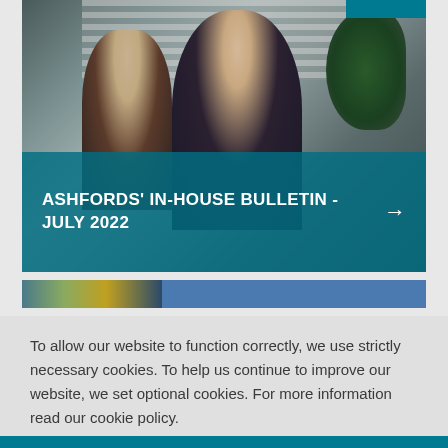[Figure (photo): Office consultation scene: two people (an older man and a younger woman with glasses and long hair) sitting at a desk, with window blinds and a plant in background. Teal semi-transparent overlay at bottom with bold white uppercase text reading 'ASHFORDS' IN-HOUSE BULLETIN - JULY 2022' and a right-arrow button.]
ASHFORDS' IN-HOUSE BULLETIN - JULY 2022
[Figure (photo): Partial second card strip showing a colorful thumbnail image on the left and a blue bar extending to the right.]
To allow our website to function correctly, we use strictly necessary cookies. To help us continue to improve our website, we set optional cookies. For more information read our cookie policy.